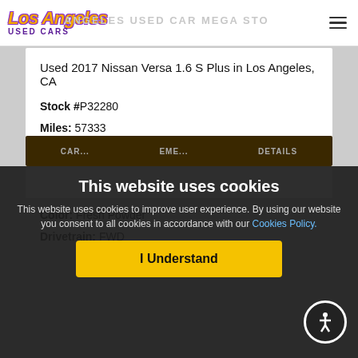Los Angeles Used Cars — LOS ANGELES USED CAR MEGA STORE
Used 2017 Nissan Versa 1.6 S Plus in Los Angeles, CA
Stock #P32280
Miles: 57333
Engine: 1.6 4Cyl
Fuel Type: Gasoline
Transmission: CVT with Xtronic
Color: Fresh Powder
Drivetrain: FWD
This website uses cookies
This website uses cookies to improve user experience. By using our website you consent to all cookies in accordance with our Cookies Policy.
I Understand